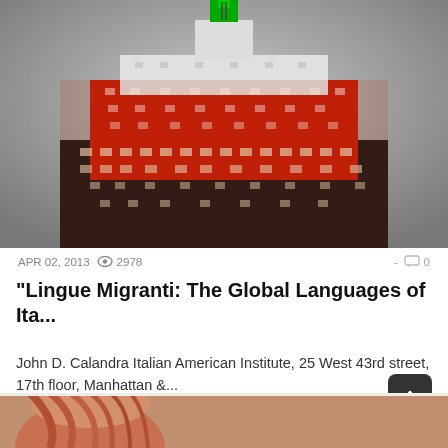[Figure (photo): Night photo of the Empire State Building illuminated in red and green colors, top of building visible against a grey sky]
APR 02, 2013  2978  -  0
"Lingue Migranti: The Global Languages of Ita...
John D. Calandra Italian American Institute, 25 West 43rd street, 17th floor, Manhattan &...
[Figure (photo): Partial view of a person with reddish hair, bottom of page]